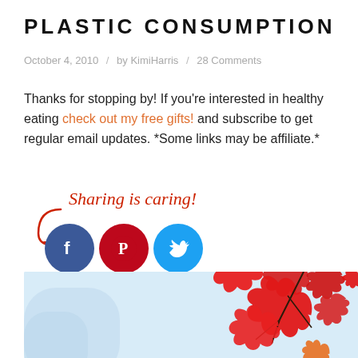PLASTIC CONSUMPTION
October 4, 2010   /   by KimiHarris   /   28 Comments
Thanks for stopping by! If you're interested in healthy eating check out my free gifts! and subscribe to get regular email updates. *Some links may be affiliate.*
[Figure (infographic): Sharing is caring! with arrow and Facebook, Pinterest, Twitter social media icons]
[Figure (photo): Red maple leaves against a light blue sky background]